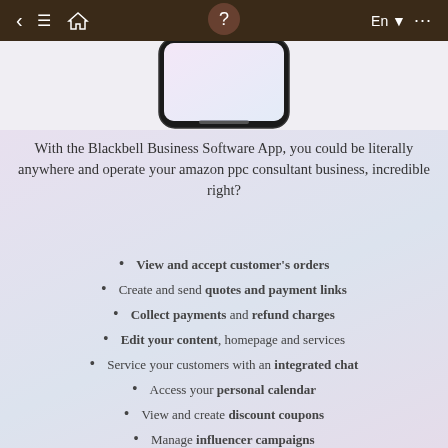[Figure (screenshot): Mobile app navigation bar with back arrow, hamburger menu, home icon, user icon, language selector (En), and more options (...)]
[Figure (photo): Bottom portion of a smartphone device showing the home screen area]
With the Blackbell Business Software App, you could be literally anywhere and operate your amazon ppc consultant business, incredible right?
View and accept customer's orders
Create and send quotes and payment links
Collect payments and refund charges
Edit your content, homepage and services
Service your customers with an integrated chat
Access your personal calendar
View and create discount coupons
Manage influencer campaigns
Access your app settings